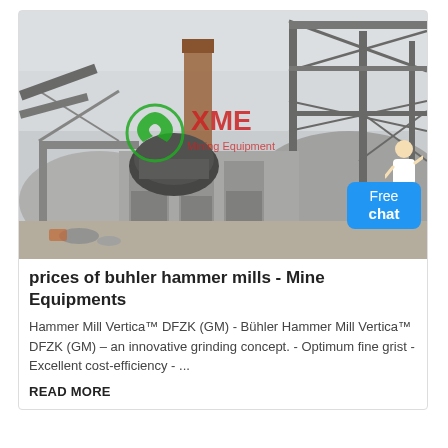[Figure (photo): Industrial mining/crushing plant facility with large metal framework structure, concrete pillars, and heavy machinery. XME Mining Equipment watermark logo visible in green and red overlay on the image. A person with headset appears in bottom-right corner next to a blue 'Free chat' badge.]
prices of buhler hammer mills - Mine Equipments
Hammer Mill Vertica™ DFZK (GM) - Bühler Hammer Mill Vertica™ DFZK (GM) – an innovative grinding concept. - Optimum fine grist - Excellent cost-efficiency - ...
READ MORE